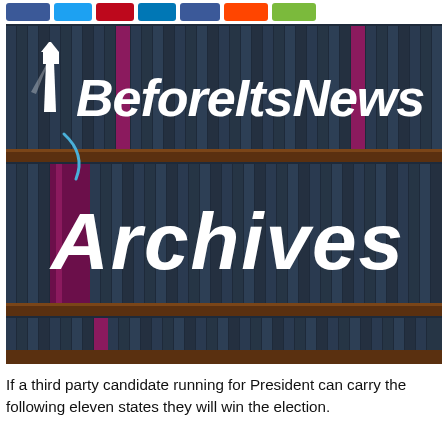[Figure (logo): Row of social media share buttons: Facebook (blue), Twitter (light blue), Pinterest (red), LinkedIn (dark blue), another blue button, Reddit/orange, and green share button]
[Figure (logo): BeforeItsNews Archives logo image — bookshelves with dark blue and magenta/purple books, white lighthouse icon, bold italic white text 'BeforeItsNews' on top shelf and 'Archives' on middle shelf]
If a third party candidate running for President can carry the following eleven states they will win the election.